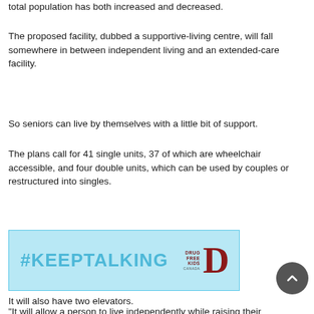total population has both increased and decreased.
The proposed facility, dubbed a supportive-living centre, will fall somewhere in between independent living and an extended-care facility.
So seniors can live by themselves with a little bit of support.
The plans call for 41 single units, 37 of which are wheelchair accessible, and four double units, which can be used by couples or restructured into singles.
[Figure (other): #KEEPTALKING Drug Free Kids advertisement banner with light blue background]
It will also have two elevators.
“It will allow a person to live independently while raising their